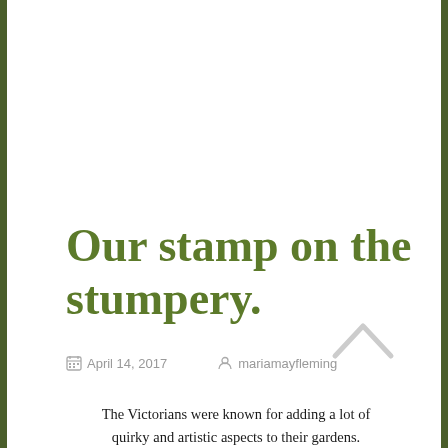Our stamp on the stumpery.
April 14, 2017   mariamayfleming
The Victorians were known for adding a lot of quirky and artistic aspects to their gardens.